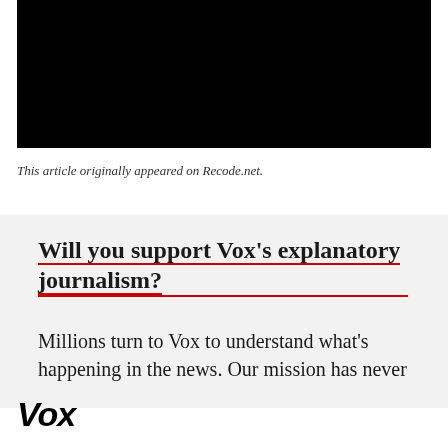[Figure (photo): Black rectangular image placeholder at the top of the page]
This article originally appeared on Recode.net.
Will you support Vox's explanatory journalism?
Millions turn to Vox to understand what's happening in the news. Our mission has never
Vox